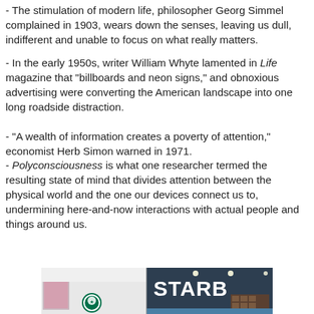- The stimulation of modern life, philosopher Georg Simmel complained in 1903, wears down the senses, leaving us dull, indifferent and unable to focus on what really matters.
- In the early 1950s, writer William Whyte lamented in Life magazine that "billboards and neon signs," and obnoxious advertising were converting the American landscape into one long roadside distraction.
- "A wealth of information creates a poverty of attention," economist Herb Simon warned in 1971.
- Polyconsciousness is what one researcher termed the resulting state of mind that divides attention between the physical world and the one our devices connect us to, undermining here-and-now interactions with actual people and things around us.
[Figure (photo): A Starbucks store interior/exterior showing the Starbucks logo on the left wall and the STARBUCKS sign on the right, with ceiling lights, shelving units, and a blue tiled counter visible.]